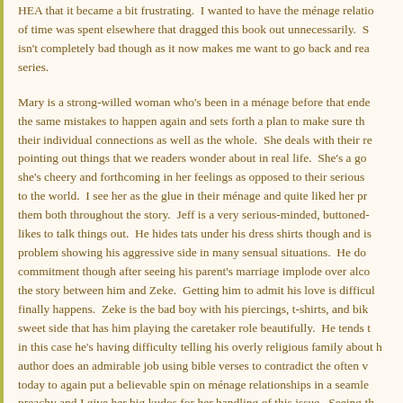HEA that it became a bit frustrating.  I wanted to have the ménage relatio of time was spent elsewhere that dragged this book out unnecessarily.  S isn't completely bad though as it now makes me want to go back and rea series.
Mary is a strong-willed woman who's been in a ménage before that ende the same mistakes to happen again and sets forth a plan to make sure th their individual connections as well as the whole.  She deals with their re pointing out things that we readers wonder about in real life.  She's a go she's cheery and forthcoming in her feelings as opposed to their serious to the world.  I see her as the glue in their ménage and quite liked her pr them both throughout the story.  Jeff is a very serious-minded, buttoned- likes to talk things out.  He hides tats under his dress shirts though and is problem showing his aggressive side in many sensual situations.  He do commitment though after seeing his parent's marriage implode over alco the story between him and Zeke.  Getting him to admit his love is difficul finally happens.  Zeke is the bad boy with his piercings, t-shirts, and bik sweet side that has him playing the caretaker role beautifully.  He tends t in this case he's having difficulty telling his overly religious family about h author does an admirable job using bible verses to contradict the often v today to again put a believable spin on ménage relationships in a seamle preachy and I give her big kudos for her handling of this issue.  Seeing th three characters shows how perfectly they blend with each one bringing relationship.  You can clearly see why they're only complete when togeth